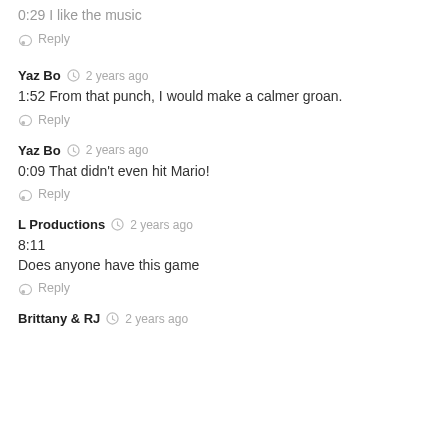0:29 I like the music
Reply
Yaz Bo  2 years ago
1:52 From that punch, I would make a calmer groan.
Reply
Yaz Bo  2 years ago
0:09 That didn't even hit Mario!
Reply
L Productions  2 years ago
8:11
Does anyone have this game
Reply
Brittany & RJ  2 years ago